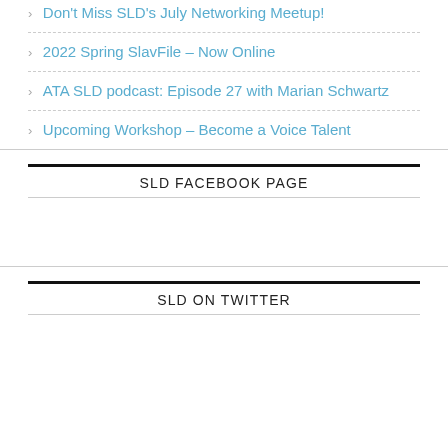Don't Miss SLD's July Networking Meetup!
2022 Spring SlavFile – Now Online
ATA SLD podcast: Episode 27 with Marian Schwartz
Upcoming Workshop – Become a Voice Talent
SLD FACEBOOK PAGE
SLD ON TWITTER